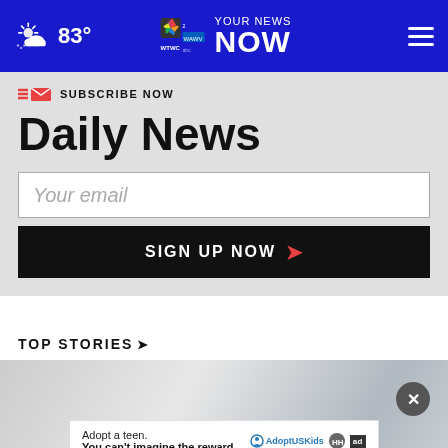83° | YOUR NEWS NOW — WTWC WAWV NBC
SUBSCRIBE NOW
Daily News
Your email
SIGN UP NOW ›
TOP STORIES ›
[Figure (photo): News story image with blurred background, close button overlay, and Adopt US Kids advertisement banner at the bottom]
Adopt a teen. You can't imagine the reward.